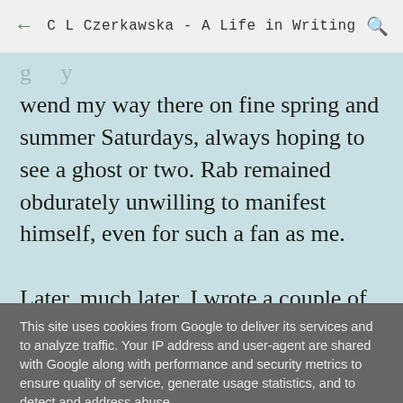C L Czerkawska - A Life in Writing
wend my way there on fine spring and summer Saturdays, always hoping to see a ghost or two. Rab remained obdurately unwilling to manifest himself, even for such a fan as me.

Later, much later, I wrote a couple of plays about
This site uses cookies from Google to deliver its services and to analyze traffic. Your IP address and user-agent are shared with Google along with performance and security metrics to ensure quality of service, generate usage statistics, and to detect and address abuse.
LEARN MORE    OK